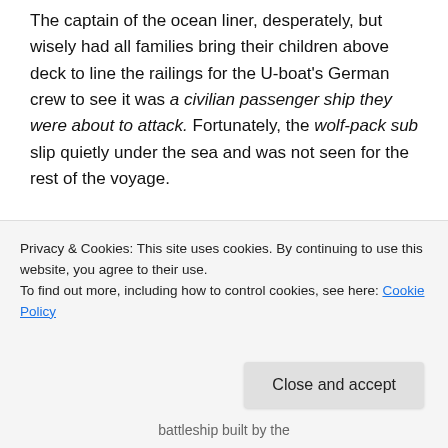The captain of the ocean liner, desperately, but wisely had all families bring their children above deck to line the railings for the U-boat's German crew to see it was a civilian passenger ship they were about to attack. Fortunately, the wolf-pack sub slip quietly under the sea and was not seen for the rest of the voyage.
[Figure (photo): Front bow-on view of a large naval battleship/warship with superstructure, radar masts, and gun turrets visible, photographed from water level against a light sky.]
Privacy & Cookies: This site uses cookies. By continuing to use this website, you agree to their use. To find out more, including how to control cookies, see here: Cookie Policy
battleship built by the